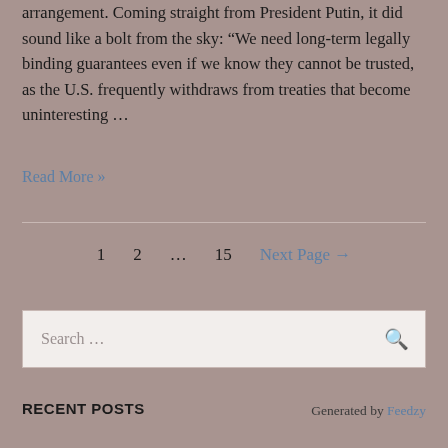arrangement. Coming straight from President Putin, it did sound like a bolt from the sky: “We need long-term legally binding guarantees even if we know they cannot be trusted, as the U.S. frequently withdraws from treaties that become uninteresting …
Read More »
1  2  …  15  Next Page →
Search …
RECENT POSTS
Generated by Feedzy